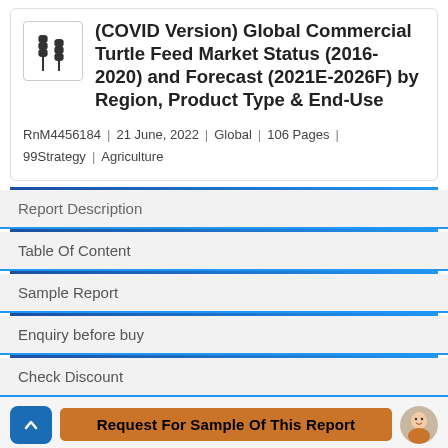(COVID Version) Global Commercial Turtle Feed Market Status (2016-2020) and Forecast (2021E-2026F) by Region, Product Type & End-Use
RnM4456184 | 21 June, 2022 | Global | 106 Pages | 99Strategy | Agriculture
Report Description
Table Of Content
Sample Report
Enquiry before buy
Check Discount
Request For Sample Of This Report
The report forecast global Commercial Turtle Feed